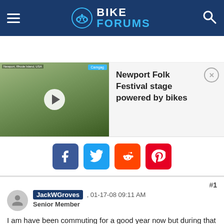BIKE FORUMS
[Figure (screenshot): Video thumbnail showing people with bikes at Newport Folk Festival with play button overlay, alongside text 'Newport Folk Festival stage powered by bikes' and a close button]
[Figure (infographic): Social sharing buttons: Facebook, Twitter, Reddit, Pinterest]
#1
JackWGroves , 01-17-08 09:11 AM
Senior Member
I am have been commuting for a good year now but during that year the place where I live (Apex, NC) has been in a fierce drought and it seldom rained. A light rainjacket was sufficient for protection. Now it is winter and the rain has